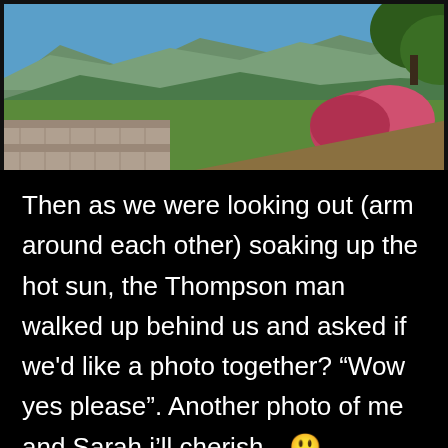[Figure (photo): Panoramic landscape photo showing a valley with mountains in the background, green trees and vegetation, a stone wall on the left, pink flowering bushes on the right, and a clear blue sky.]
Then as we were looking out (arm around each other) soaking up the hot sun, the Thompson man walked up behind us and asked if we'd like a photo together? “Wow yes please”. Another photo of me and Sarah i’ll cherish…😃